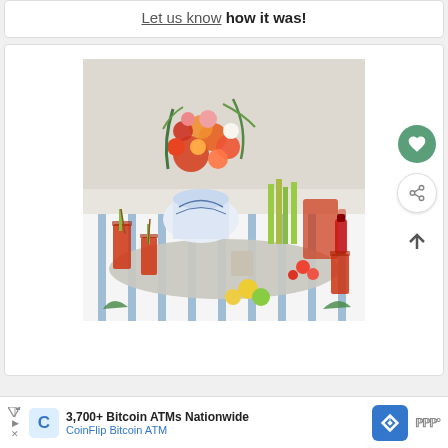Let us know how it was!
[Figure (photo): Elaborately styled Bloody Mary bar on a table with floral arrangement in blue and white vase, multiple glasses of Bloody Mary cocktails, celery stalks, condiments, shrimp, lemons, limes, on a blue-striped tablecloth]
3,700+ Bitcoin ATMs Nationwide CoinFlip Bitcoin ATM